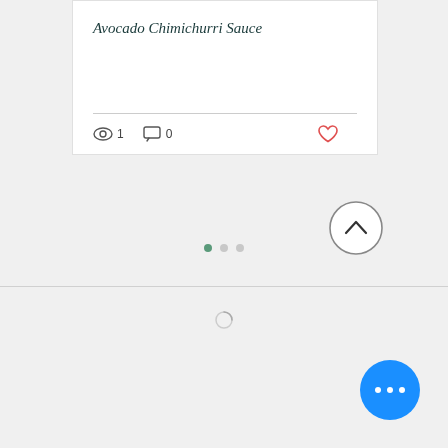Avocado Chimichurri Sauce
[Figure (screenshot): Card UI with title 'Avocado Chimichurri Sauce', view count 1, comment count 0, heart icon, pagination dots, up-arrow circle button, horizontal divider, loading spinner, and blue FAB with ellipsis]